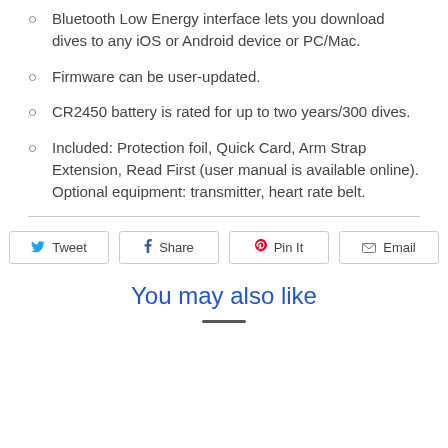Bluetooth Low Energy interface lets you download dives to any iOS or Android device or PC/Mac.
Firmware can be user-updated.
CR2450 battery is rated for up to two years/300 dives.
Included: Protection foil, Quick Card, Arm Strap Extension, Read First (user manual is available online). Optional equipment: transmitter, heart rate belt.
Tweet | Share | Pin It | Email
You may also like